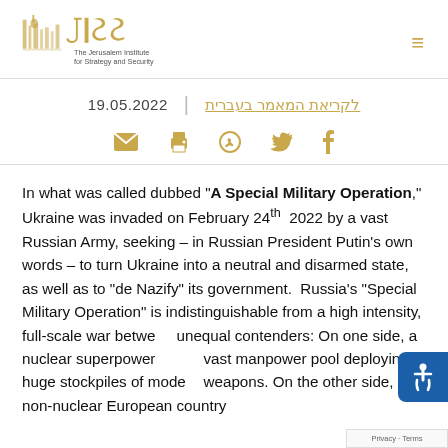[Figure (logo): JISS - The Jerusalem Institute for Strategy and Security logo with building illustration]
19.05.2022 | לקריאת המאמר בעברית
[Figure (infographic): Social sharing icons: email, print, WhatsApp, Twitter, Facebook]
In what was called dubbed "A Special Military Operation," Ukraine was invaded on February 24th 2022 by a vast Russian Army, seeking – in Russian President Putin's own words – to turn Ukraine into a neutral and disarmed state, as well as to "de Nazify" its government. Russia's "Special Military Operation" is indistinguishable from a high intensity, full-scale war between unequal contenders: On one side, a nuclear superpower with a vast manpower pool deploying huge stockpiles of modern weapons. On the other side, a non-nuclear European country